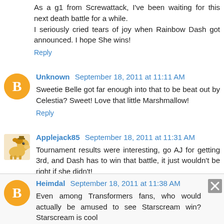As a g1 from Screwattack, I've been waiting for this next death battle for a while.
I seriously cried tears of joy when Rainbow Dash got announced. I hope She wins!
Reply
Unknown  September 18, 2011 at 11:11 AM
Sweetie Belle got far enough into that to be beat out by Celestia? Sweet! Love that little Marshmallow!
Reply
Applejack85  September 18, 2011 at 11:31 AM
Tournament results were interesting, go AJ for getting 3rd, and Dash has to win that battle, it just wouldn't be right if she didn't!
Reply
Heimdal  September 18, 2011 at 11:38 AM
Even among Transformers fans, who would actually be amused to see Starscream win? Starscream is cool